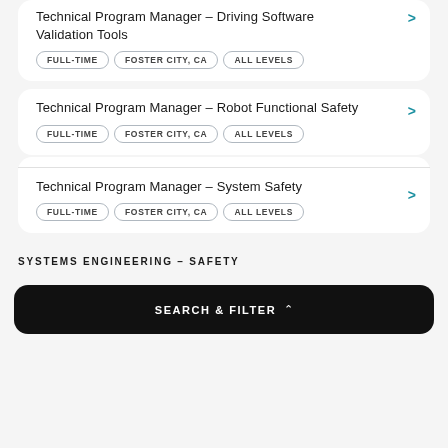Technical Program Manager – Driving Software Validation Tools
FULL-TIME  FOSTER CITY, CA  ALL LEVELS
Technical Program Manager – Robot Functional Safety
FULL-TIME  FOSTER CITY, CA  ALL LEVELS
Technical Program Manager – System Safety
FULL-TIME  FOSTER CITY, CA  ALL LEVELS
SYSTEMS ENGINEERING – SAFETY
SEARCH & FILTER